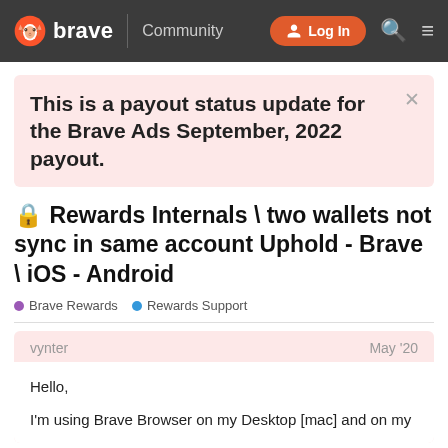brave Community | Log In
This is a payout status update for the Brave Ads September, 2022 payout.
🔒 Rewards Internals \ two wallets not sync in same account Uphold - Brave \ iOS - Android
Brave Rewards • Rewards Support
vynter May '20
Hello,
I'm using Brave Browser on my Desktop [mac] and on my